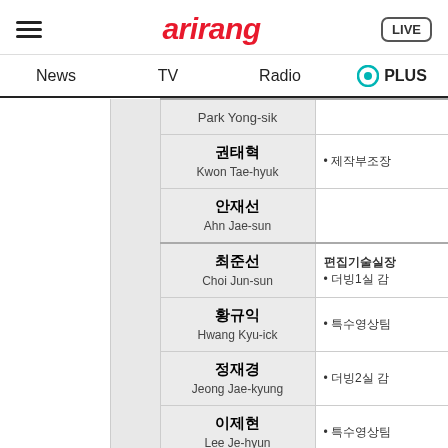arirang
News | TV | Radio | PLUS
|  |  | Name | Description |
| --- | --- | --- | --- |
|  |  | Park Yong-sik |  |
|  |  | 권태혁 / Kwon Tae-hyuk | • 제작부조장 |
|  |  | 안재선 / Ahn Jae-sun |  |
|  |  | 최준선 / Choi Jun-sun | 편집기술실장 / • 더빙1실 감 |
|  |  | 황규익 / Hwang Kyu-ick | • 특수영상팀 |
|  |  | 정재경 / Jeong Jae-kyung | • 더빙2실 감 |
|  |  | 이제현 / Lee Je-hyun | • 특수영상팀 |